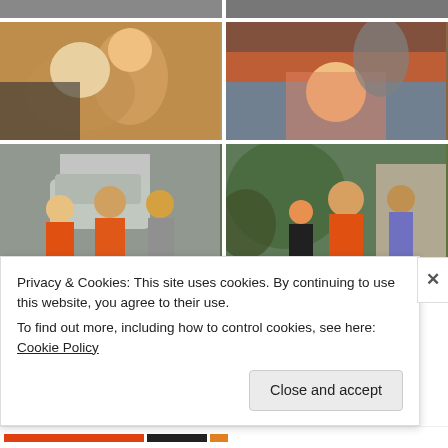[Figure (photo): Partial top row of two photos cropped at top of page — partial images of bicycles or outdoor scene]
[Figure (photo): Woman and child (boy) kissing/touching faces indoors, warm brown background]
[Figure (photo): Young girl looking up toward camera from inside a vehicle/car seat area, adults visible]
[Figure (photo): Group of people walking outdoors, men wearing orange T-shirts with colorful graphic, white SUV in background]
[Figure (photo): Group of people walking outdoors, man in orange graphic T-shirt in foreground, greenery and building behind]
[Figure (photo): Two partial photos at bottom, partially obscured by cookie banner]
Privacy & Cookies: This site uses cookies. By continuing to use this website, you agree to their use.
To find out more, including how to control cookies, see here: Cookie Policy
Close and accept